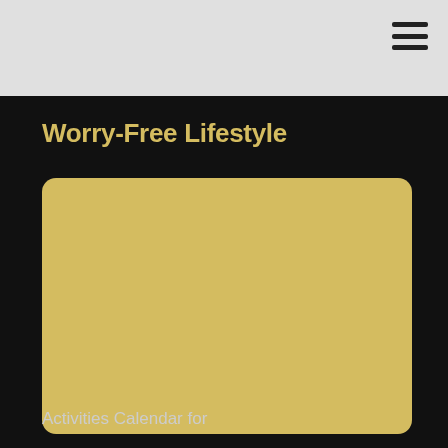Worry-Free Lifestyle
[Figure (other): Large golden-yellow rounded rectangle card placeholder image area]
Activities Calendar for